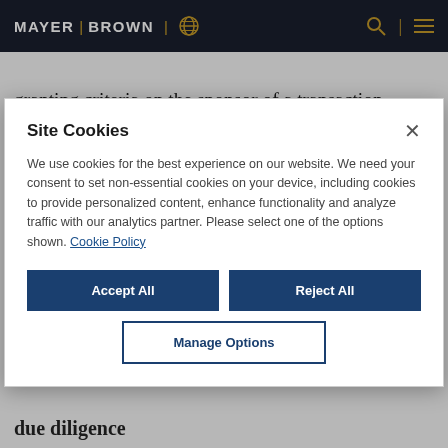MAYER | BROWN
imposes obligations with respect to credit-granting criteria on the sponsor of a transaction, this is not reflected in the verification obligations
Site Cookies
We use cookies for the best experience on our website. We need your consent to set non-essential cookies on your device, including cookies to provide personalized content, enhance functionality and analyze traffic with our analytics partner. Please select one of the options shown. Cookie Policy
Accept All
Reject All
Manage Options
due diligence